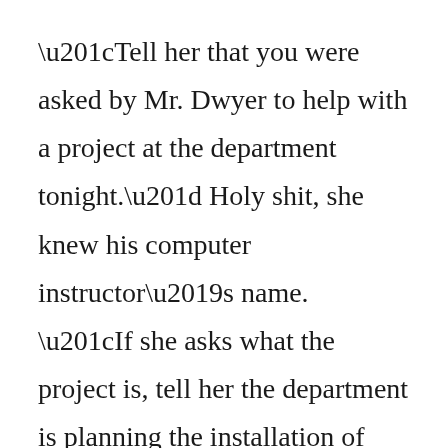“Tell her that you were asked by Mr. Dwyer to help with a project at the department tonight.” Holy shit, she knew his computer instructor’s name. “If she asks what the project is, tell her the department is planning the installation of new hard drives on the school’s computer system during the summer, and you’ve been asked to help with preparation.” Jack felt a sense of